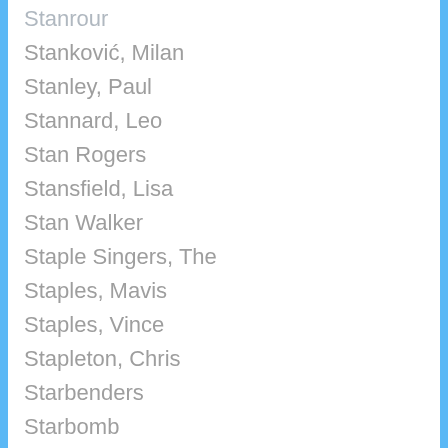Stanrour
Stanković, Milan
Stanley, Paul
Stannard, Leo
Stan Rogers
Stansfield, Lisa
Stan Walker
Staple Singers, The
Staples, Mavis
Staples, Vince
Stapleton, Chris
Starbenders
Starbomb
Star Cast
Starcrawler
Stardust